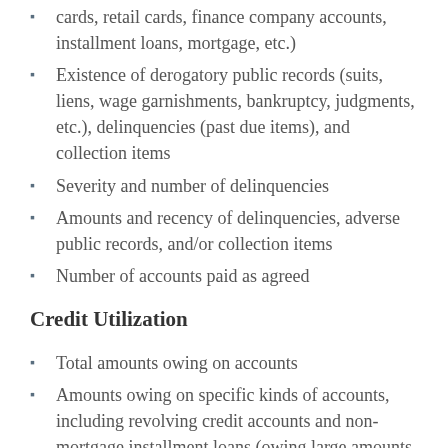cards, retail cards, finance company accounts, installment loans, mortgage, etc.)
Existence of derogatory public records (suits, liens, wage garnishments, bankruptcy, judgments, etc.), delinquencies (past due items), and collection items
Severity and number of delinquencies
Amounts and recency of delinquencies, adverse public records, and/or collection items
Number of accounts paid as agreed
Credit Utilization
Total amounts owing on accounts
Amounts owing on specific kinds of accounts, including revolving credit accounts and non-mortgage installment loans (owing large amounts